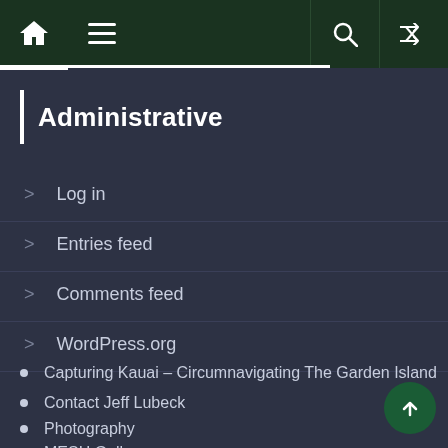Navigation bar with home icon, menu icon, search icon, and shuffle icon
Administrative
Log in
Entries feed
Comments feed
WordPress.org
Capturing Kauai – Circumnavigating The Garden Island
Contact Jeff Lubeck
Photography
MESH Gallery